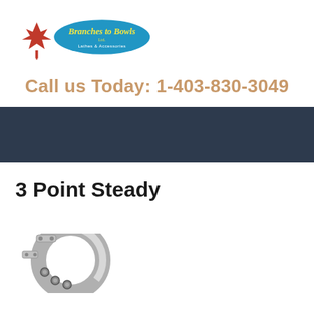[Figure (logo): Branches to Bowls Ltd. logo with Canadian maple leaf and blue oval containing company name and tagline 'Lathes & Accessories']
Call us Today: 1-403-830-3049
3 Point Steady
[Figure (photo): 3 Point Steady metallic lathe accessory, circular ring shape with adjustable points and bolts]